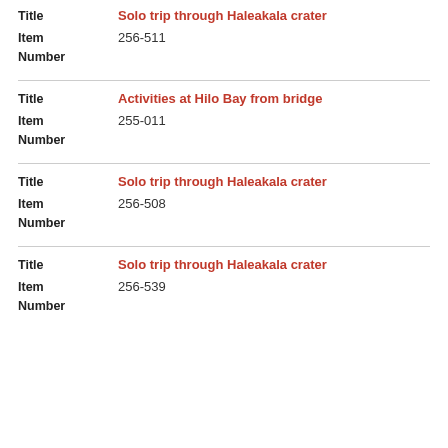| Field | Value |
| --- | --- |
| Title | Solo trip through Haleakala crater |
| Item Number | 256-511 |
| Title | Activities at Hilo Bay from bridge |
| Item Number | 255-011 |
| Title | Solo trip through Haleakala crater |
| Item Number | 256-508 |
| Title | Solo trip through Haleakala crater |
| Item Number | 256-539 |